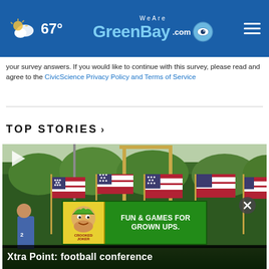67° WeAreGreenBay.com
your survey answers. If you would like to continue with this survey, please read and agree to the CivicScience Privacy Policy and Terms of Service
TOP STORIES ›
[Figure (photo): Video thumbnail showing American flags being carried by a person in a football jersey (#2), with a goalpost and utility pole in the background against green trees. A play button is visible in the top left. An advertisement banner for 'Crooked Joker - Fun & Games for Grown Ups' overlays the bottom of the video.]
Xtra Point: football conference